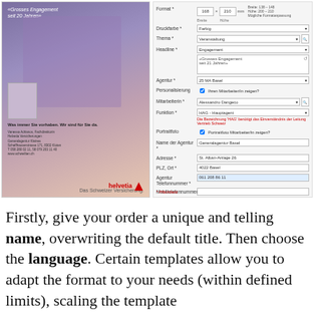[Figure (screenshot): Helvetia insurance advertisement configuration screen showing an ad preview on the left with a young man at an event and text '«Grosses Engagement seit 20 Jahren»', and a form on the right with fields for Format, Druckfarbe, Thema, Headline, Agentur, Personalisierung, MitarbeiterIn, Funktion, Portraitfoto, Name der Agentur, Adresse, PLZ Ort, Agentur Telefonnummer, Mobiltelefonnummer, with buttons Speichern, Abbrechen, Vorschau, Bestellen]
Firstly, give your order a unique and telling name, overwriting the default title. Then choose the language. Certain templates allow you to adapt the format to your needs (within defined limits), scaling the template